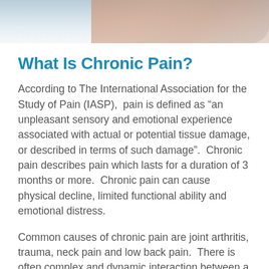[Figure (photo): Blurred photo of a person, cropped at top of page]
What Is Chronic Pain?
According to The International Association for the Study of Pain (IASP),  pain is defined as "an unpleasant sensory and emotional experience associated with actual or potential tissue damage, or described in terms of such damage".  Chronic pain describes pain which lasts for a duration of 3 months or more.  Chronic pain can cause physical decline, limited functional ability and emotional distress.
Common causes of chronic pain are joint arthritis, trauma, neck pain and low back pain.  There is often complex and dynamic interaction between a